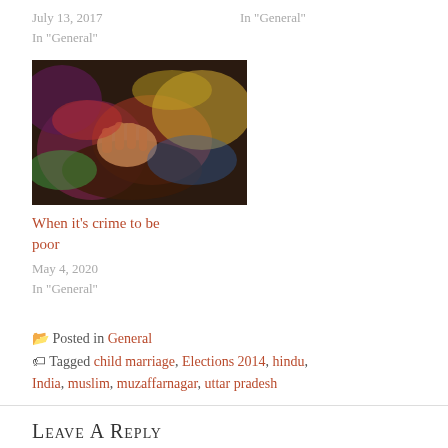July 13, 2017
In "General"
In "General"
[Figure (photo): Close-up photo of elderly hands with colorful fabric/clothing in background, appearing to be a scene of poverty]
When it's crime to be poor
May 4, 2020
In "General"
Posted in General
Tagged child marriage, Elections 2014, hindu, India, muslim, muzaffarnagar, uttar pradesh
Leave a Reply